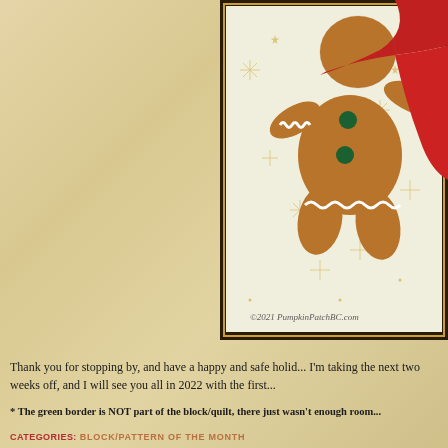[Figure (photo): A cropped photo of a gingerbread man quilt block with appliquéd felt/fabric, wearing a red scarf, with green buttons, white lace trim along arms and bottom, on a snowflake-patterned fabric background. The image has a dark brown border frame and gold accent border. Watermark reads: ©2021 PumpkinPatchBC.com]
Thank you for stopping by, and have a happy and safe holiday! I'm taking the next two weeks off, and I will see you all in 2022 with the first...
* The green border is NOT part of the block/quilt, there just wasn't enough room...
CATEGORIES: BLOCK/PATTERN OF THE MONTH